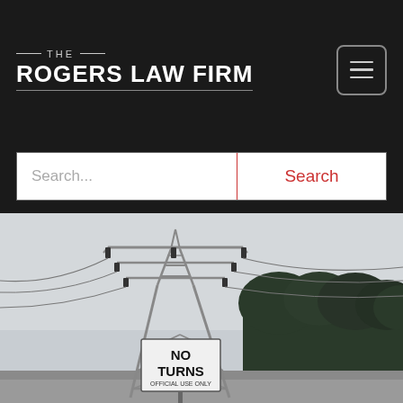THE ROGERS LAW FIRM
Search...
Search
[Figure (photo): Outdoor photo of a large steel electrical power transmission tower/pylon with high-voltage power lines against an overcast sky. In the foreground is a sign reading 'NO TURNS OFFICIAL USE ONLY'. Dense trees are visible in the background.]